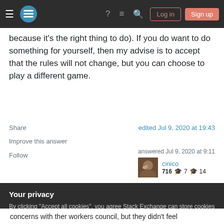Stack Exchange navigation bar with logo, help, chat, search, Log in, Sign up buttons
because it's the right thing to do). If you do want to do something for yourself, then my advise is to accept that the rules will not change, but you can choose to play a different game.
Share
Improve this answer
Follow
edited Jul 9, 2020 at 19:43
answered Jul 9, 2020 at 9:11
cinico
716  7  14
Your privacy
By clicking "Accept all cookies", you agree Stack Exchange can store cookies on your device and disclose information in accordance with our Cookie Policy.
Accept all cookies   Customize settings
concerns with ther workers council, but they didn't feel